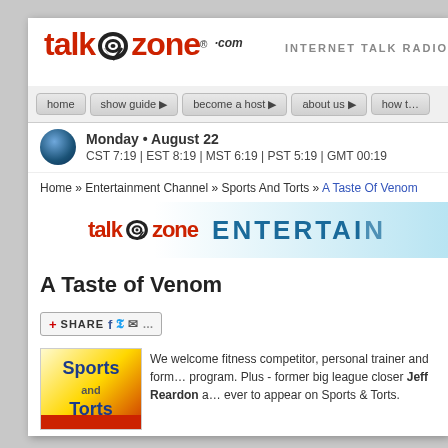[Figure (logo): talkzone.com logo with spiral microphone icon in red, INTERNET TALK RADIO text]
[Figure (screenshot): Navigation bar with buttons: home, show guide, become a host, about us, how to]
Monday • August 22
CST 7:19 | EST 8:19 | MST 6:19 | PST 5:19 | GMT 00:19
Home » Entertainment Channel » Sports And Torts » A Taste Of Venom
[Figure (logo): talkzone ENTERTAINMENT channel banner]
A Taste of Venom
[Figure (other): Share bar with SHARE button, Facebook, Twitter, email icons]
[Figure (illustration): Sports and Torts show logo image]
We welcome fitness competitor, personal trainer and former program. Plus - former big league closer Jeff Reardon a ever to appear on Sports & Torts.